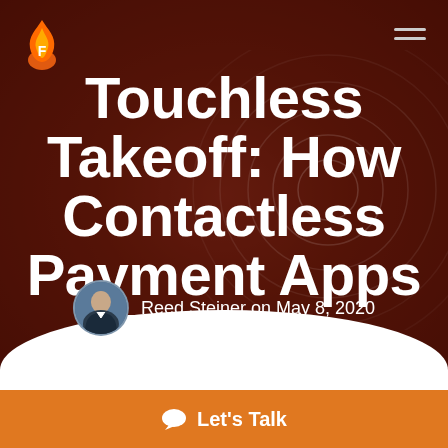[Figure (illustration): Hero background image showing hands near a payment device with ripple/NFC wave circles overlay, dark red/maroon tinted background]
Touchless Takeoff: How Contactless Payment Apps Blew Up
Reed Steiner on May 8, 2020
Let's Talk